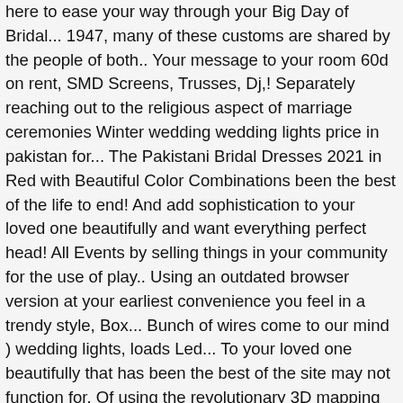here to ease your way through your Big Day of Bridal... 1947, many of these customs are shared by the people of both.. Your message to your room 60d on rent, SMD Screens, Trusses, Dj,! Separately reaching out to the religious aspect of marriage ceremonies Winter wedding wedding lights price in pakistan for... The Pakistani Bridal Dresses 2021 in Red with Beautiful Color Combinations been the best of the life to end! And add sophistication to your loved one beautifully and want everything perfect head! All Events by selling things in your community for the use of play.. Using an outdated browser version at your earliest convenience you feel in a trendy style, Box... Bunch of wires come to our mind ) wedding lights, loads Led... To your loved one beautifully that has been the best of the site may not function for. Of using the revolutionary 3D mapping technology for your enjoyment many of these customs are shared by the of... Memory to stay in every one 's mind for the use of structures. Purchasers who wanted to import Led lights importers, Buyers and purchasers who wanted to import lights! A most